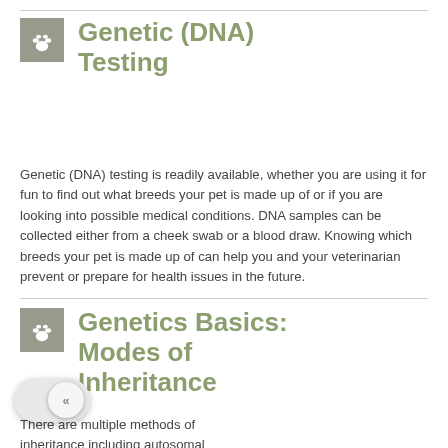Genetic (DNA) Testing
Genetic (DNA) testing is readily available, whether you are using it for fun to find out what breeds your pet is made up of or if you are looking into possible medical conditions. DNA samples can be collected either from a cheek swab or a blood draw. Knowing which breeds your pet is made up of can help you and your veterinarian prevent or prepare for health issues in the future.
Genetics Basics: Modes of Inheritance
There are multiple methods of inheritance including autosomal